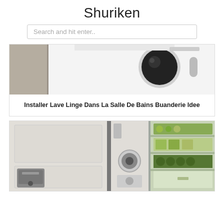Shuriken
Search and hit enter..
[Figure (photo): A white front-loading washing machine partially visible, with gray tile/cement wall on the left side]
Installer Lave Linge Dans La Salle De Bains Buanderie Idee
[Figure (photo): Kitchen with white cabinet panels on left, an open refrigerator showing green vegetables and canned drinks, a coffee machine visible at bottom left]